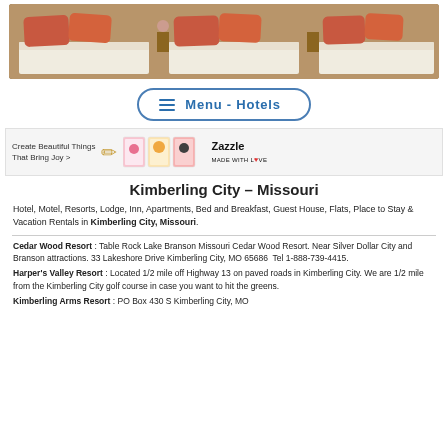[Figure (photo): Hotel room photo showing beds with orange/red pillows and wooden walls]
Menu - Hotels
[Figure (illustration): Zazzle advertisement banner: Create Beautiful Things That Bring Joy > with greeting cards images and Zazzle logo]
Kimberling City – Missouri
Hotel, Motel, Resorts, Lodge, Inn, Apartments, Bed and Breakfast, Guest House, Flats, Place to Stay & Vacation Rentals in Kimberling City, Missouri.
Cedar Wood Resort : Table Rock Lake Branson Missouri Cedar Wood Resort. Near Silver Dollar City and Branson attractions. 33 Lakeshore Drive Kimberling City, MO 65686  Tel 1-888-739-4415.
Harper's Valley Resort : Located 1/2 mile off Highway 13 on paved roads in Kimberling City. We are 1/2 mile from the Kimberling City golf course in case you want to hit the greens.
Kimberling Arms Resort : PO Box 430 S Kimberling City, MO